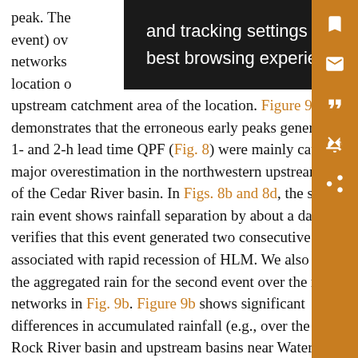peak. The [largest/most extreme] event) over [the] river networks [with] speci location of [the] upstream catchment area of the location. Figure 9a demonstrates that the erroneous early peaks generated by 1- and 2-h lead time QPF (Fig. 8) were mainly caused by major overestimation in the northwestern upstream area of the Cedar River basin. In Figs. 8b and 8d, the second rain event shows rainfall separation by about a day, which verifies that this event generated two consecutive peaks associated with rapid recession of HLM. We also present the aggregated rain for the second event over the river networks in Fig. 9b. Figure 9b shows significant differences in accumulated rainfall (e.g., over the Shell Rock River basin and upstream basins near Waterloo) and
[Figure (screenshot): Browser cookie/tracking settings tooltip overlay with dark background and white text: 'and tracking settings to store information that help give you the very best browsing experience.']